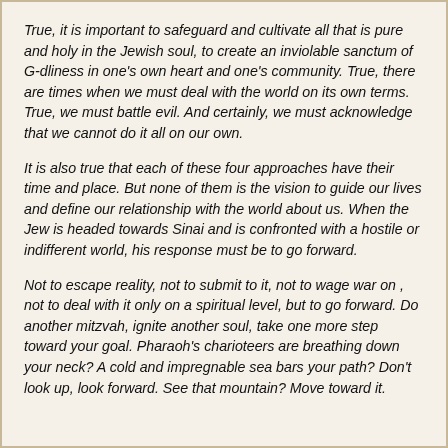True, it is important to safeguard and cultivate all that is pure and holy in the Jewish soul, to create an inviolable sanctum of G-dliness in one's own heart and one's community. True, there are times when we must deal with the world on its own terms. True, we must battle evil. And certainly, we must acknowledge that we cannot do it all on our own.
It is also true that each of these four approaches have their time and place. But none of them is the vision to guide our lives and define our relationship with the world about us. When the Jew is headed towards Sinai and is confronted with a hostile or indifferent world, his response must be to go forward.
Not to escape reality, not to submit to it, not to wage war on , not to deal with it only on a spiritual level, but to go forward. Do another mitzvah, ignite another soul, take one more step toward your goal. Pharaoh's charioteers are breathing down your neck? A cold and impregnable sea bars your path? Don't look up, look forward. See that mountain? Move toward it.